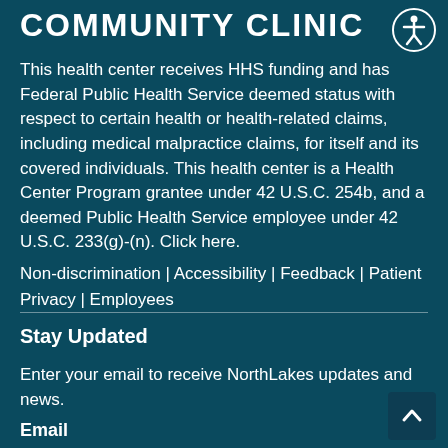COMMUNITY CLINIC
This health center receives HHS funding and has Federal Public Health Service deemed status with respect to certain health or health-related claims, including medical malpractice claims, for itself and its covered individuals. This health center is a Health Center Program grantee under 42 U.S.C. 254b, and a deemed Public Health Service employee under 42 U.S.C. 233(g)-(n). Click here. Non-discrimination | Accessibility | Feedback | Patient Privacy | Employees
Stay Updated
Enter your email to receive NorthLakes updates and news.
Email